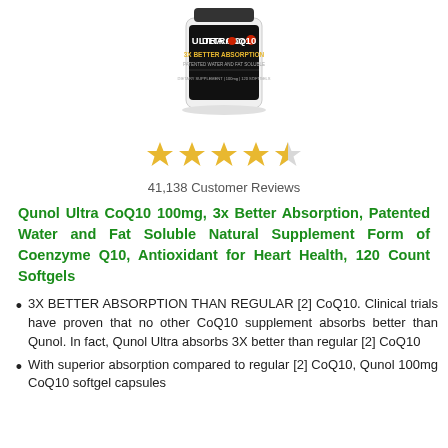[Figure (photo): Product photo of Qunol Ultra CoQ10 supplement bottle with black label, showing '3X Better Absorption' text]
[Figure (other): 4.5 star rating display (5 gold stars with last one half-filled)]
41,138 Customer Reviews
Qunol Ultra CoQ10 100mg, 3x Better Absorption, Patented Water and Fat Soluble Natural Supplement Form of Coenzyme Q10, Antioxidant for Heart Health, 120 Count Softgels
3X BETTER ABSORPTION THAN REGULAR [2] CoQ10. Clinical trials have proven that no other CoQ10 supplement absorbs better than Qunol. In fact, Qunol Ultra absorbs 3X better than regular [2] CoQ10
With superior absorption compared to regular [2] CoQ10, Qunol 100mg CoQ10 softgel capsules